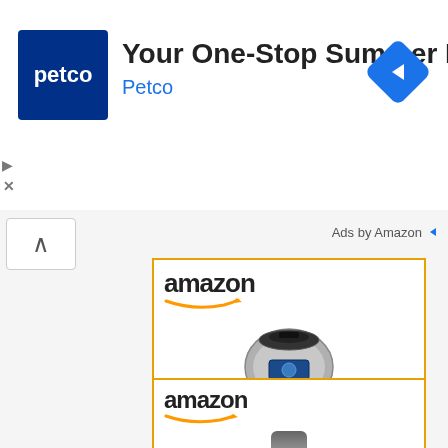[Figure (screenshot): Petco advertisement banner with blue logo, title 'Your One-Stop Summer Pet Shop', and navigation diamond icon]
Your One-Stop Summer Pet Shop
Petco
Ads by Amazon
[Figure (screenshot): Amazon advertisement card for CAREY DPC-9SS Smart... priced at $245.53 with Prime badge and Shop now button]
CAREY DPC-9SS Smart...
$245.53
[Figure (screenshot): Second Amazon advertisement card showing a tower fan product]